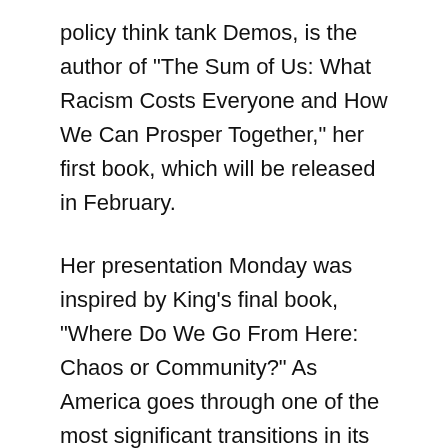policy think tank Demos, is the author of "The Sum of Us: What Racism Costs Everyone and How We Can Prosper Together," her first book, which will be released in February.
Her presentation Monday was inspired by King's final book, "Where Do We Go From Here: Chaos or Community?" As America goes through one of the most significant transitions in its history, it is facing exactly the stark choice that King described, she said.